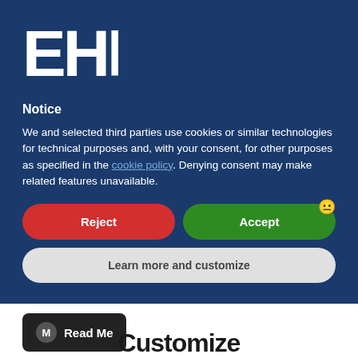[Figure (logo): EHF logo — white stylized letters E, H, F on dark blue background]
Notice
We and selected third parties use cookies or similar technologies for technical purposes and, with your consent, for other purposes as specified in the cookie policy. Denying consent may make related features unavailable.
[Figure (other): Reject button (red, rounded) and Accept button (green, rounded) side by side]
[Figure (other): Learn more and customize button (light gray, rounded, full width)]
[Figure (other): Read Me badge with icon on black rounded rectangle]
Customize